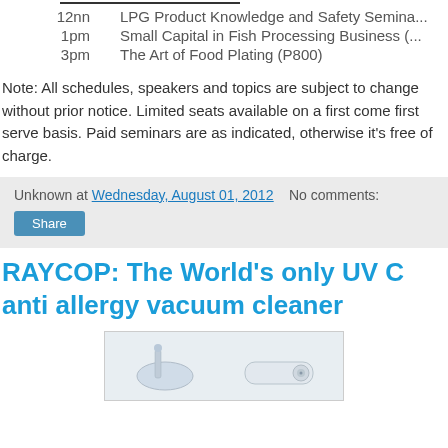12nn    LPG Product Knowledge and Safety Semina...
1pm    Small Capital in Fish Processing Business (...
3pm    The Art of Food Plating (P800)
Note: All schedules, speakers and topics are subject to change without prior notice. Limited seats available on a first come first serve basis. Paid seminars are as indicated, otherwise it's free of charge.
Unknown at Wednesday, August 01, 2012    No comments:
Share
RAYCOP: The World's only UV C anti allergy vacuum cleaner
[Figure (photo): Photo of vacuum cleaner products — two white vacuum cleaner devices shown side by side]